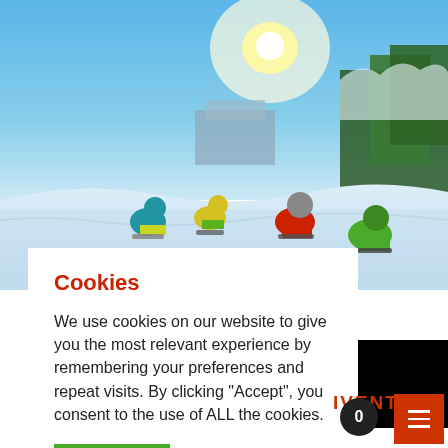[Figure (photo): Group of people sledding on snow in bright winter sunshine, wearing colorful ski gear. Pine trees and a building in the background.]
Cookies
We use cookies on our website to give you the most relevant experience by remembering your preferences and repeat visits. By clicking "Accept", you consent to the use of ALL the cookies.
ACCEPT
Cookie settings
REJECT